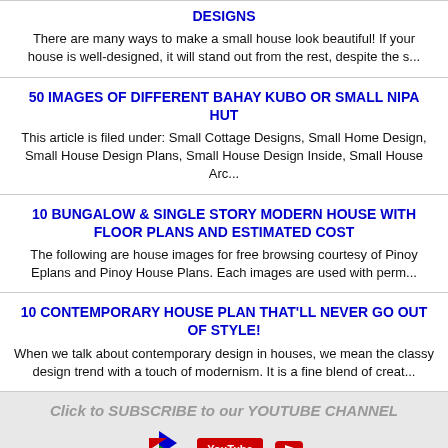DESIGNS
There are many ways to make a small house look beautiful! If your house is well-designed, it will stand out from the rest, despite the s...
50 IMAGES OF DIFFERENT BAHAY KUBO OR SMALL NIPA HUT
This article is filed under: Small Cottage Designs, Small Home Design, Small House Design Plans, Small House Design Inside, Small House Arc...
10 BUNGALOW & SINGLE STORY MODERN HOUSE WITH FLOOR PLANS AND ESTIMATED COST
The following are house images for free browsing courtesy of Pinoy Eplans and Pinoy House Plans. Each images are used with perm...
10 CONTEMPORARY HOUSE PLAN THAT'LL NEVER GO OUT OF STYLE!
When we talk about contemporary design in houses, we mean the classy design trend with a touch of modernism. It is a fine blend of creat...
Click to SUBSCRIBE to our YOUTUBE CHANNEL